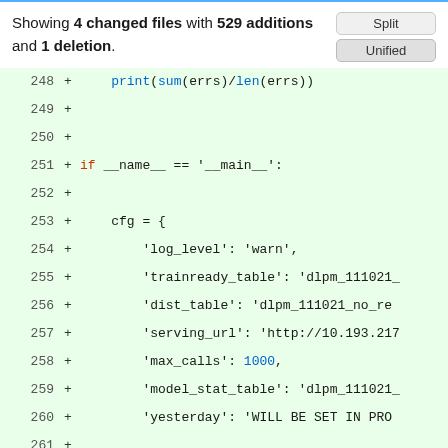Showing 4 changed files with 529 additions and 1 deletion.
[Figure (screenshot): Git diff view showing added lines 248-265 of Python code including print, if __name__ == '__main__', cfg and cfg_1 dictionary definitions]
Split / Unified buttons